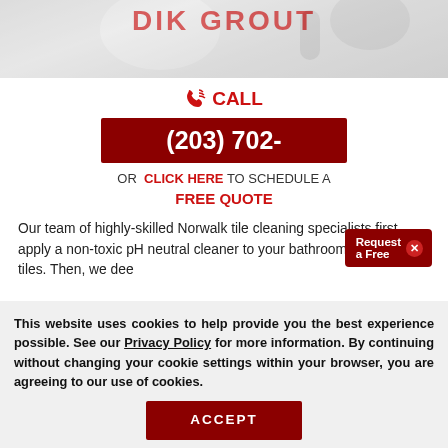[Figure (photo): Top portion of a cleaning service website header with red brand text partially visible, showing what appears to be a cleaning professional]
CALL
(203) 702-
OR  CLICK HERE TO SCHEDULE A FREE QUOTE
Our team of highly-skilled Norwalk tile cleaning specialists first apply a non-toxic pH neutral cleaner to your bathroom or kitchen tiles. Then, we dee
Request a Free
This website uses cookies to help provide you the best experience possible. See our Privacy Policy for more information. By continuing without changing your cookie settings within your browser, you are agreeing to our use of cookies.
ACCEPT